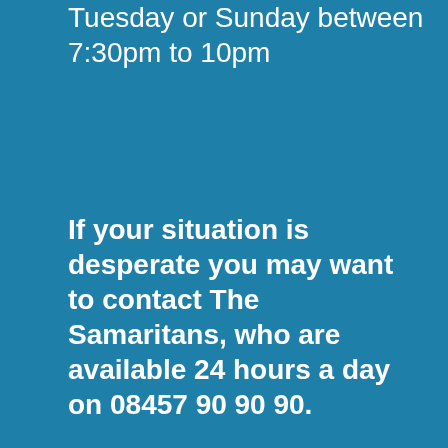Tuesday or Sunday between 7:30pm to 10pm
If your situation is desperate you may want to contact The Samaritans, who are available 24 hours a day on 08457 90 90 90.